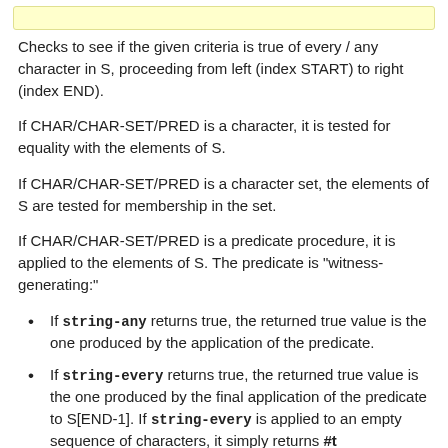[Figure (other): Yellow highlighted bar at top of page]
Checks to see if the given criteria is true of every / any character in S, proceeding from left (index START) to right (index END).
If CHAR/CHAR-SET/PRED is a character, it is tested for equality with the elements of S.
If CHAR/CHAR-SET/PRED is a character set, the elements of S are tested for membership in the set.
If CHAR/CHAR-SET/PRED is a predicate procedure, it is applied to the elements of S. The predicate is "witness-generating:"
If string-any returns true, the returned true value is the one produced by the application of the predicate.
If string-every returns true, the returned true value is the one produced by the final application of the predicate to S[END-1]. If string-every is applied to an empty sequence of characters, it simply returns #t